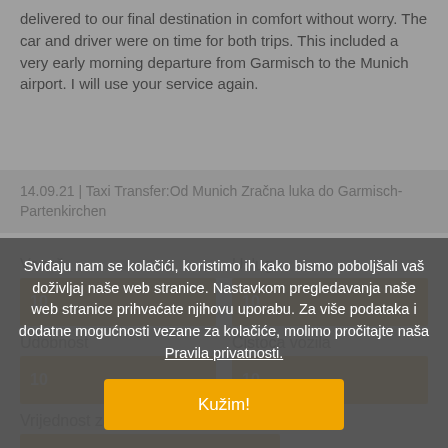delivered to our final destination in comfort without worry. The car and driver were on time for both trips. This included a very early morning departure from Garmisch to the Munich airport. I will use your service again.
14.09.21 | Taxi Transfer:Od Munich Zračna luka do Garmisch-Partenkirchen
Vozač
[Figure (infographic): Rating bar showing score 10 for Vozač (Driver)]
Usluga
[Figure (infographic): Rating bar showing score 10 for Usluga (Service)]
Udobnost
[Figure (infographic): Rating bar showing score 10 for Udobnost (Comfort)]
Čistoća vozila
[Figure (infographic): Rating bar showing score 10 for Čistoća vozila (Vehicle cleanliness)]
Vrijednost za novac
[Figure (infographic): Rating bar showing score 10 for Vrijednost za novac (Value for money)]
Sviđaju nam se kolačići, koristimo ih kako bismo poboljšali vaš doživljaj naše web stranice. Nastavkom pregledavanja naše web stranice prihvaćate njihovu uporabu. Za više podataka i dodatne mogućnosti vezane za kolačiće, molimo pročitajte naša Pravila privatnosti.
Kužim!